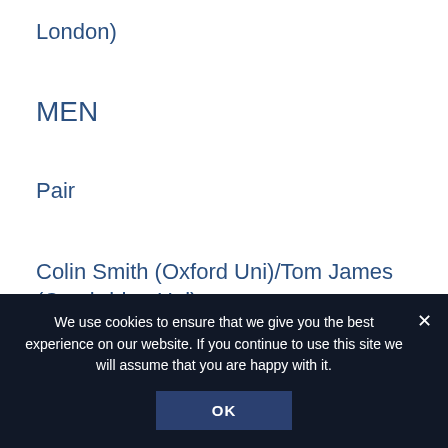London)
MEN
Pair
Colin Smith (Oxford Uni)/Tom James (Cambridge Uni)
Coach: Rusty Williams
Four
Alex Partridge (Leander)/Steve Williams
We use cookies to ensure that we give you the best experience on our website. If you continue to use this site we will assume that you are happy with it.